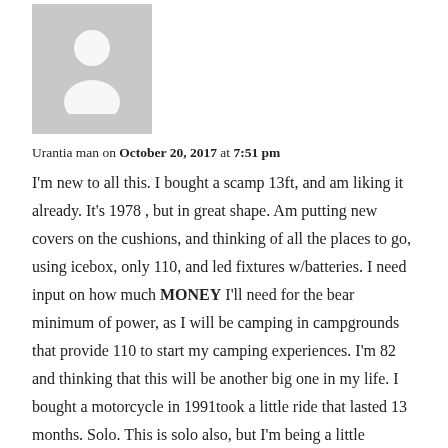[Figure (illustration): Grey placeholder avatar icon showing a generic person silhouette on a light grey background]
Urantia man on October 20, 2017 at 7:51 pm
I'm new to all this. I bought a scamp 13ft, and am liking it already. It's 1978 , but in great shape. Am putting new covers on the cushions, and thinking of all the places to go, using icebox, only 110, and led fixtures w/batteries. I need input on how much MONEY I'll need for the bear minimum of power, as I will be camping in campgrounds that provide 110 to start my camping experiences. I'm 82 and thinking that this will be another big one in my life. I bought a motorcycle in 1991took a little ride that lasted 13 months. Solo. This is solo also, but I'm being a little